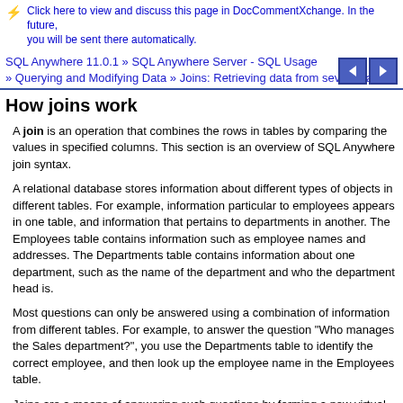Click here to view and discuss this page in DocCommentXchange. In the future, you will be sent there automatically.
SQL Anywhere 11.0.1 » SQL Anywhere Server - SQL Usage » Querying and Modifying Data » Joins: Retrieving data from several tables
How joins work
A join is an operation that combines the rows in tables by comparing the values in specified columns. This section is an overview of SQL Anywhere join syntax.
A relational database stores information about different types of objects in different tables. For example, information particular to employees appears in one table, and information that pertains to departments in another. The Employees table contains information such as employee names and addresses. The Departments table contains information about one department, such as the name of the department and who the department head is.
Most questions can only be answered using a combination of information from different tables. For example, to answer the question "Who manages the Sales department?", you use the Departments table to identify the correct employee, and then look up the employee name in the Employees table.
Joins are a means of answering such questions by forming a new virtual table that includes information from multiple tables. For example, you could create a list of the department heads by combining the information contained in the Employees table and the Departments table. You specify which tables contain the information you need using the FROM